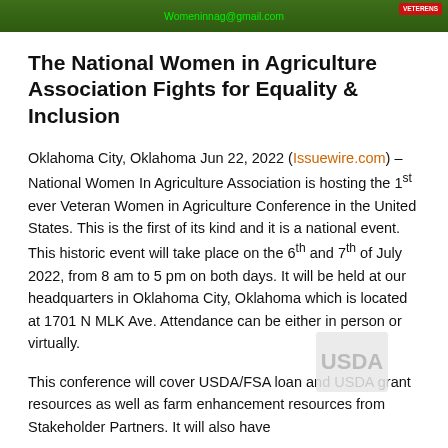[Figure (photo): Green agricultural background banner with email 'Womeninnag@gmail.com' in green text and a red logo/badge in the top right corner]
The National Women in Agriculture Association Fights for Equality & Inclusion
Oklahoma City, Oklahoma Jun 22, 2022 (Issuewire.com) – National Women In Agriculture Association is hosting the 1st ever Veteran Women in Agriculture Conference in the United States. This is the first of its kind and it is a national event. This historic event will take place on the 6th and 7th of July 2022, from 8 am to 5 pm on both days. It will be held at our headquarters in Oklahoma City, Oklahoma which is located at 1701 N MLK Ave. Attendance can be either in person or virtually.
This conference will cover USDA/FSA loan and USDA grant resources as well as farm enhancement resources from Stakeholder Partners. It will also have